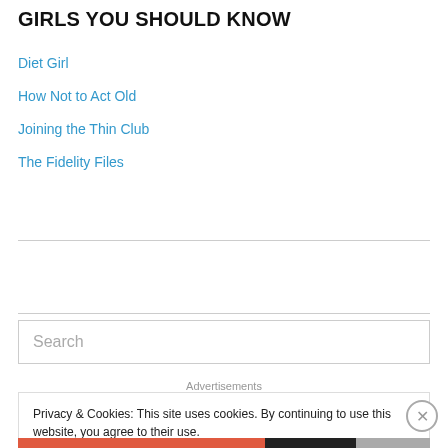GIRLS YOU SHOULD KNOW
Diet Girl
How Not to Act Old
Joining the Thin Club
The Fidelity Files
Search
Advertisements
Privacy & Cookies: This site uses cookies. By continuing to use this website, you agree to their use.
To find out more, including how to control cookies, see here: Cookie Policy
Close and accept